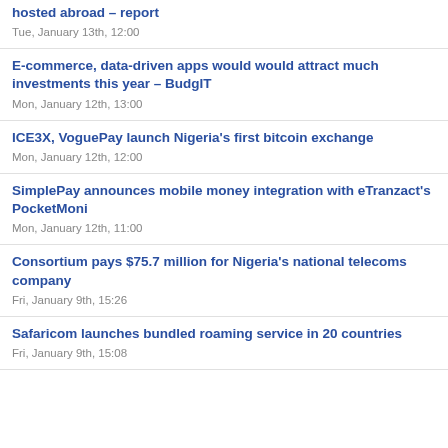hosted abroad – report
Tue, January 13th, 12:00
E-commerce, data-driven apps would would attract much investments this year – BudgIT
Mon, January 12th, 13:00
ICE3X, VoguePay launch Nigeria's first bitcoin exchange
Mon, January 12th, 12:00
SimplePay announces mobile money integration with eTranzact's PocketMoni
Mon, January 12th, 11:00
Consortium pays $75.7 million for Nigeria's national telecoms company
Fri, January 9th, 15:26
Safaricom launches bundled roaming service in 20 countries
Fri, January 9th, 15:08